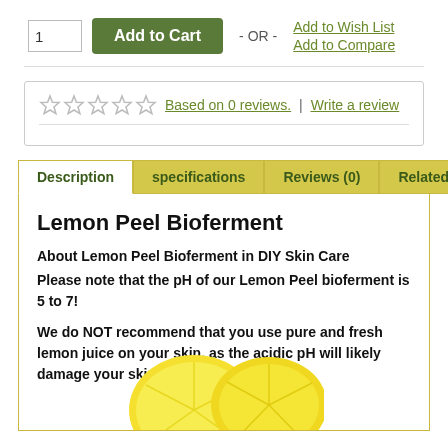1  Add to Cart  - OR -  Add to Wish List  Add to Compare
Based on 0 reviews.  |  Write a review
Description  specifications  Reviews (0)  Related Products (56)
Lemon Peel Bioferment
About Lemon Peel Bioferment in DIY Skin Care
Please note that the pH of our Lemon Peel bioferment is 5 to 7!
We do NOT recommend that you use pure and fresh lemon juice on your skin, as the acidic pH will likely damage your skin.
[Figure (photo): Photo of lemon slices/lemons at the bottom of the page]